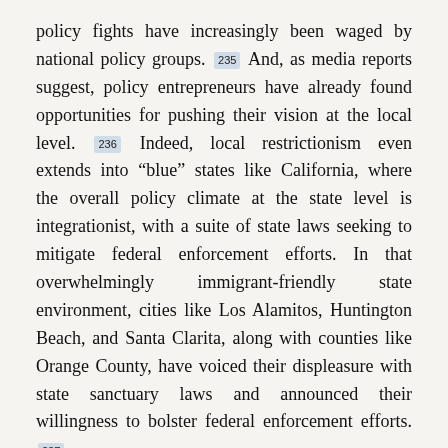policy fights have increasingly been waged by national policy groups. 235 And, as media reports suggest, policy entrepreneurs have already found opportunities for pushing their vision at the local level. 236 Indeed, local restrictionism even extends into “blue” states like California, where the overall policy climate at the state level is integrationist, with a suite of state laws seeking to mitigate federal enforcement efforts. In that overwhelmingly immigrant-friendly state environment, cities like Los Alamitos, Huntington Beach, and Santa Clarita, along with counties like Orange County, have voiced their displeasure with state sanctuary laws and announced their willingness to bolster federal enforcement efforts. 237
The use of local policies to aid, rather than oppose, federal enforcement efforts is not new. Between 2005 and 2012, several states and localities passed varied anti-immigrant laws that created new penalties based on immigration